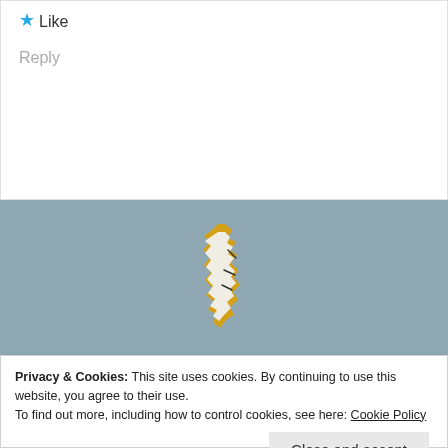★ Like
Reply
[Figure (illustration): Pencil sharpener icon — a white pencil tip with a yellow/gold jagged zigzag border, viewed from the side, on a muted blue-grey background]
[Figure (illustration): Airmail envelope header stripe pattern — diagonal blue and brown/terracotta strips]
Leave a Reply
Privacy & Cookies: This site uses cookies. By continuing to use this website, you agree to their use.
To find out more, including how to control cookies, see here: Cookie Policy
Close and accept